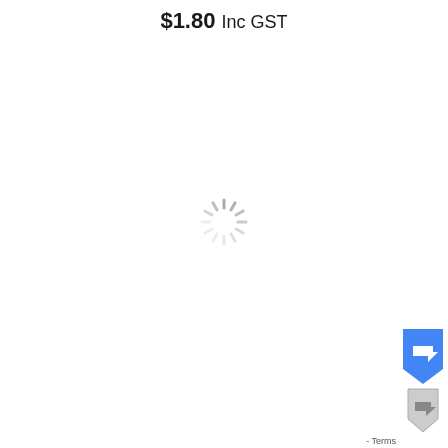$1.80 Inc GST
[Figure (other): A loading spinner (circular dashed spinner icon) centered on the page, indicating content is loading.]
[Figure (other): Partial reCAPTCHA badge visible at bottom-right corner, showing blue shield/arrow icons and '- Terms' text.]